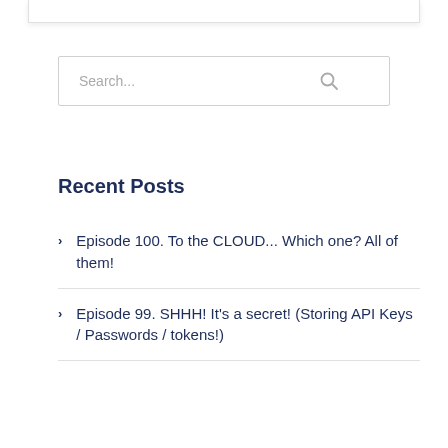[Figure (screenshot): Search input box with placeholder text 'Search...' and a search icon on the right]
Recent Posts
Episode 100. To the CLOUD... Which one? All of them!
Episode 99. SHHH! It's a secret! (Storing API Keys / Passwords / tokens!)